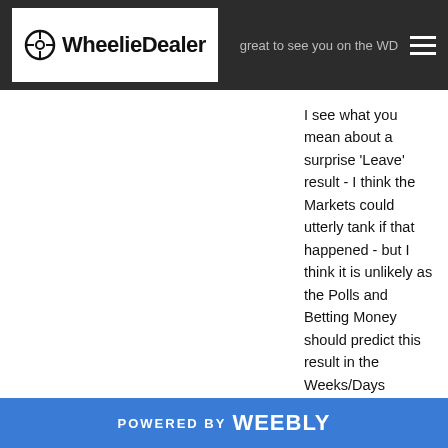WheelieDealer — great to see you on the WD
I see what you mean about a surprise 'Leave' result - I think the Markets could utterly tank if that happened - but I think it is unlikely as the Polls and Betting Money should predict this result in the Weeks/Days running up to the Vote on the 23rd June. Mind you, the Polls were useless at the General Election so maybe we could get a shock result. Another big factor here is the Turnout - the view seems to be that a low Turnout will favour 'Leave' - and this is very difficult for the Pollsters and Betters to factor in. However, we cut it, you are right about being choppy leading up to the Vote I think.
Cheers, WD
POWERED BY weebly